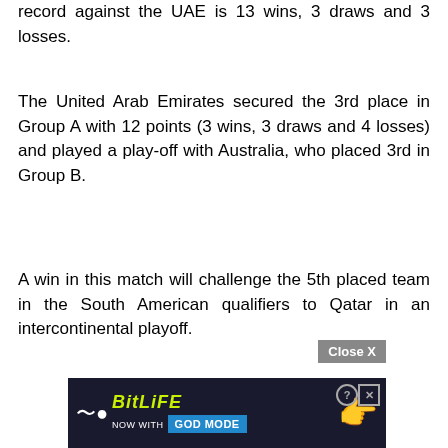record against the UAE is 13 wins, 3 draws and 3 losses.
The United Arab Emirates secured the 3rd place in Group A with 12 points (3 wins, 3 draws and 4 losses) and played a play-off with Australia, who placed 3rd in Group B.
A win in this match will challenge the 5th placed team in the South American qualifiers to Qatar in an intercontinental playoff.
[Figure (screenshot): Close X button overlay and BitLife advertisement banner with 'NOW WITH GOD MODE' text, yellow lightning bolt, and hand pointing graphic]